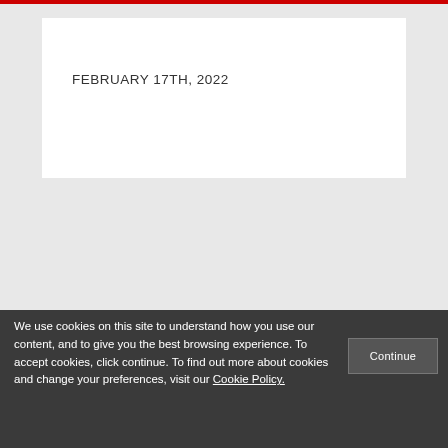FEBRUARY 17TH, 2022
[Figure (infographic): Social media icons: Twitter, Facebook, LinkedIn, RSS feed]
We use cookies on this site to understand how you use our content, and to give you the best browsing experience. To accept cookies, click continue. To find out more about cookies and change your preferences, visit our Cookie Policy.